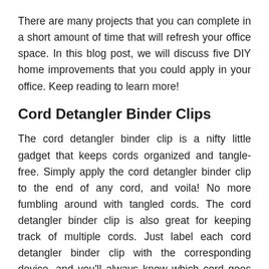There are many projects that you can complete in a short amount of time that will refresh your office space. In this blog post, we will discuss five DIY home improvements that you could apply in your office. Keep reading to learn more!
Cord Detangler Binder Clips
The cord detangler binder clip is a nifty little gadget that keeps cords organized and tangle-free. Simply apply the cord detangler binder clip to the end of any cord, and voila! No more fumbling around with tangled cords. The cord detangler binder clip is also great for keeping track of multiple cords. Just label each cord detangler binder clip with the corresponding device, and you'll always know which cord goes where. Best of all, the cord detangler binder clip is reusable, so you can keep using it for years to come. So say goodbye to tangled cords, and hello to the cord